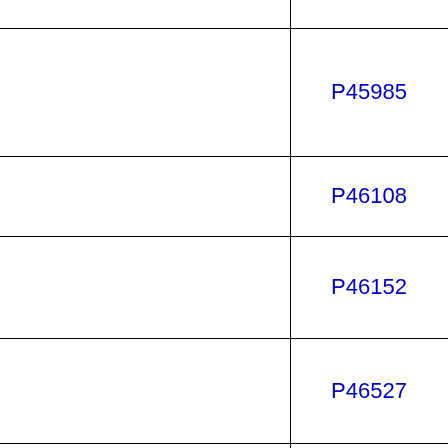|  |  |
|  | P45985 |
|  | P46108 |
|  | P46152 |
|  | P46527 |
|  |  |